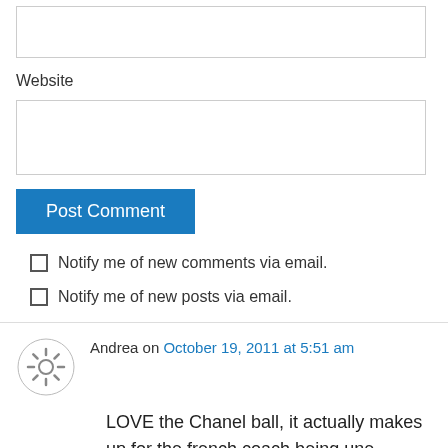[Figure (screenshot): Empty text input box at top of page]
Website
[Figure (screenshot): Empty website URL input box]
[Figure (screenshot): Post Comment button (blue)]
Notify me of new comments via email.
Notify me of new posts via email.
Andrea on October 19, 2011 at 5:51 am
LOVE the Chanel ball, it actually makes up for the french coach being une sacrebleu imbécile!